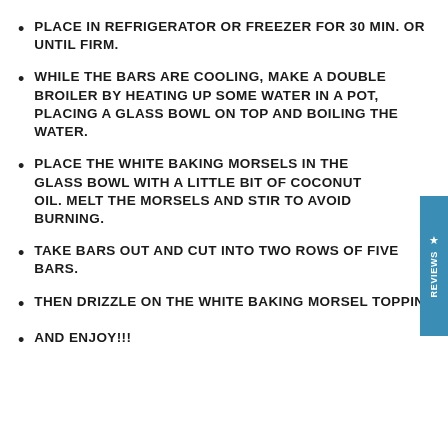PLACE IN REFRIGERATOR OR FREEZER FOR 30 MIN. OR UNTIL FIRM.
WHILE THE BARS ARE COOLING, MAKE A DOUBLE BROILER BY HEATING UP SOME WATER IN A POT, PLACING A GLASS BOWL ON TOP AND BOILING THE WATER.
PLACE THE WHITE BAKING MORSELS IN THE GLASS BOWL WITH A LITTLE BIT OF COCONUT OIL. MELT THE MORSELS AND STIR TO AVOID BURNING.
TAKE BARS OUT AND CUT INTO TWO ROWS OF FIVE BARS.
THEN DRIZZLE ON THE WHITE BAKING MORSEL TOPPING
AND ENJOY!!!